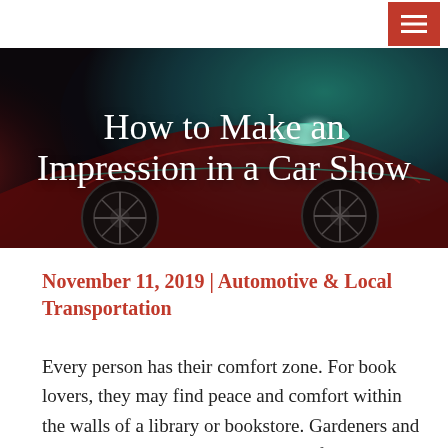≡
[Figure (photo): A red sports car with dramatic lighting in dark background, showing headlights and wheel detail with teal/blue accent light. Serves as hero image behind the title text 'How to Make an Impression in a Car Show'.]
How to Make an Impression in a Car Show
November 11, 2019 | Automotive & Local Transportation
Every person has their comfort zone. For book lovers, they may find peace and comfort within the walls of a library or bookstore. Gardeners and horticulturists will have a more comfortable and